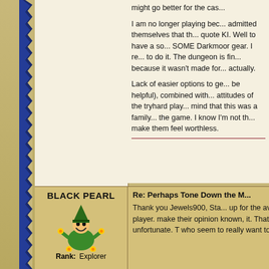might go better for the cas...

I am no longer playing because KI admitted themselves that they... quote KI. Well to have a so... SOME Darkmoor gear. I re... to do it. The dungeon is fin... because it wasn't made for... actually.

Lack of easier options to ge... be helpful), combined with... attitudes of the tryhard play... mind that this was a family... the game. I know I'm not th... make them feel worthless.
Black Pearl
[Figure (illustration): Cartoon avatar of a character in a green wizard outfit with a pointy hat, smiling, with flower decorations around them]
Rank: Explorer
Re: Perhaps Tone Down the M...

Thank you Jewels900, Sta... up for the average player. make their opinion known, it. That is so unfortunate. T who seem to really want to...